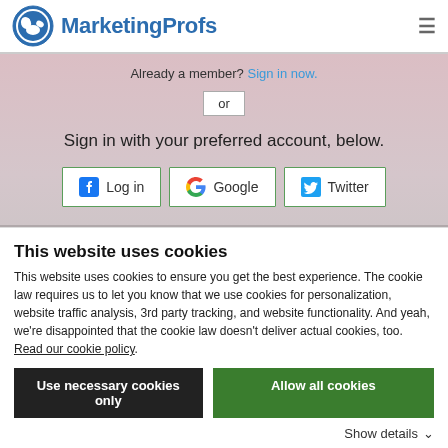MarketingProfs
Already a member? Sign in now.
or
Sign in with your preferred account, below.
[Figure (screenshot): Three social login buttons: Facebook Log in, Google, Twitter]
This website uses cookies
This website uses cookies to ensure you get the best experience. The cookie law requires us to let you know that we use cookies for personalization, website traffic analysis, 3rd party tracking, and website functionality. And yeah, we're disappointed that the cookie law doesn't deliver actual cookies, too. Read our cookie policy.
Use necessary cookies only
Allow all cookies
Show details